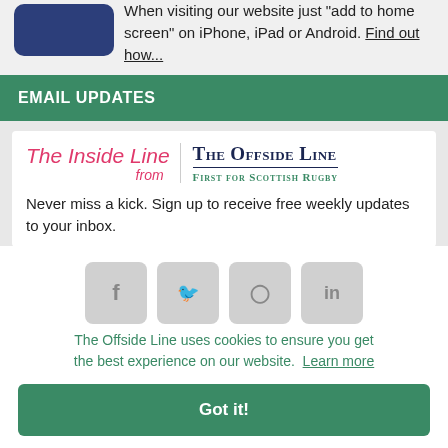When visiting our website just "add to home screen" on iPhone, iPad or Android. Find out how...
EMAIL UPDATES
[Figure (logo): The Inside Line from / The Offside Line - First for Scottish Rugby newsletter logo]
Never miss a kick. Sign up to receive free weekly updates to your inbox.
The Offside Line uses cookies to ensure you get the best experience on our website. Learn more
Got it!